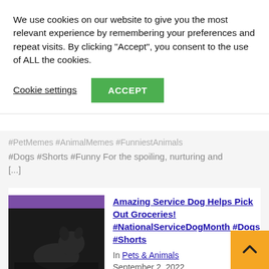We use cookies on our website to give you the most relevant experience by remembering your preferences and repeat visits. By clicking “Accept”, you consent to the use of ALL the cookies.
Cookie settings
ACCEPT
#PetMemes #AnimalMemes #FunniestAnimals
#Dogs #Shorts #Funny For the spoiling, nurturing and [...]
[Figure (photo): Thumbnail image of a dog near a refrigerator, with a purple bar at the top]
Amazing Service Dog Helps Pick Out Groceries! #NationalServiceDogMonth #Dogs #Shorts
In Pets & Animals
September 2, 2022
Happy #NationalServiceDogMonth! We’re proud to celebrate all the extraordinary work these pups do for ❤️🐾❤️the people in their care! (VIA – Janaye K.)